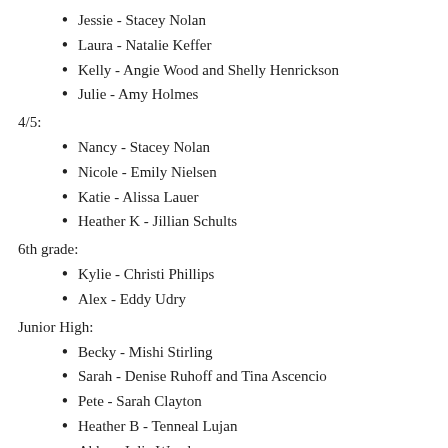Jessie - Stacey Nolan
Laura - Natalie Keffer
Kelly - Angie Wood and Shelly Henrickson
Julie - Amy Holmes
4/5:
Nancy - Stacey Nolan
Nicole - Emily Nielsen
Katie - Alissa Lauer
Heather K - Jillian Schults
6th grade:
Kylie - Christi Phillips
Alex - Eddy Udry
Junior High:
Becky - Mishi Stirling
Sarah - Denise Ruhoff and Tina Ascencio
Pete - Sarah Clayton
Heather B - Tenneal Lujan
Abby - Julia Wood